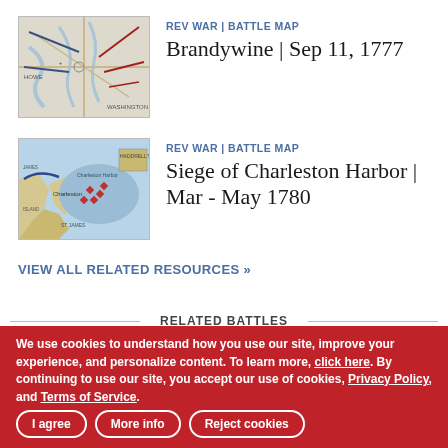[Figure (map): Battle map thumbnail for Brandywine, Sep 11, 1777 showing troop movements and terrain]
REV WAR | BATTLE MAP
Brandywine | Sep 11, 1777
[Figure (map): Battle map thumbnail for Siege of Charleston Harbor, Mar - May 1780 showing harbor, fortifications, and troop positions]
REV WAR | BATTLE MAP
Siege of Charleston Harbor | Mar - May 1780
VIEW ALL RELATED RESOURCES »
RELATED BATTLES
We use cookies to understand how you use our site, improve your experience, and personalize content. To learn more, click here. By continuing to use our site, you accept our use of cookies, Privacy Policy, and Terms of Service.